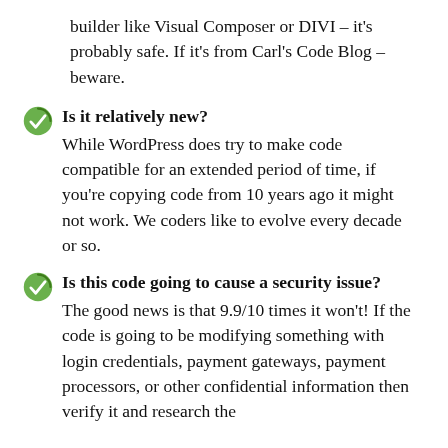builder like Visual Composer or DIVI – it's probably safe. If it's from Carl's Code Blog – beware.
Is it relatively new? While WordPress does try to make code compatible for an extended period of time, if you're copying code from 10 years ago it might not work. We coders like to evolve every decade or so.
Is this code going to cause a security issue? The good news is that 9.9/10 times it won't! If the code is going to be modifying something with login credentials, payment gateways, payment processors, or other confidential information then verify it and research the